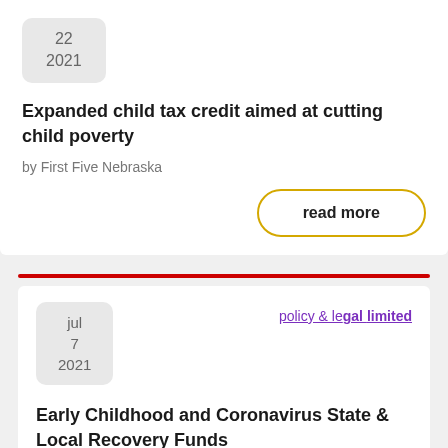22
2021
Expanded child tax credit aimed at cutting child poverty
by First Five Nebraska
read more
jul
7
2021
policy & legal limited
Early Childhood and Coronavirus State & Local Recovery Funds